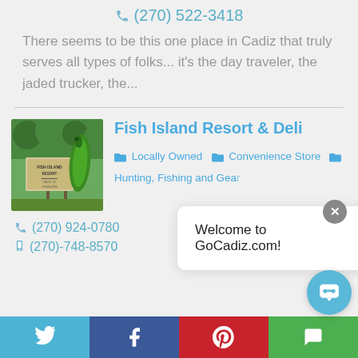(270) 522-3418
There seems to be this one place in Cadiz that truly serves all types of folks... it's the day traveler, the jaded trucker, the...
Fish Island Resort & Deli
Locally Owned  Convenience Store  Hunting, Fishing and Gear
[Figure (photo): Photo of Fish Island Resort sign with a green kayak sculpture in front]
Welcome to GoCadiz.com!
(270) 924-0780
(270)-748-8570